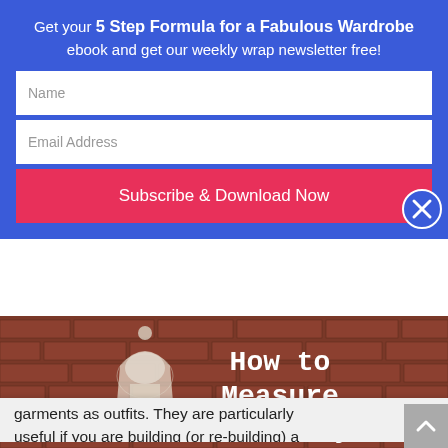Get your 5 Step Formula for a Fabulous Wardrobe ebook and get our weekly wrap newsletter free!
Name
Email Address
Subscribe & Download Now
garments as outfits. They are particularly useful if you are building (or re-building) a wardrobe due to pregnancy, weight-loss or gain, change in lifestyle, body...
[Figure (photo): Photo of a white dress form/mannequin against a brick wall background with text overlay reading 'How to Measure Your Body']